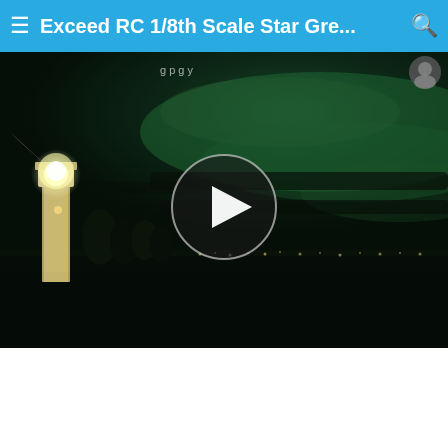≡ Exceed RC 1/8th Scale Star Gre... 🔍
[Figure (screenshot): Video thumbnail of a nighttime scene showing a lighthouse on the left with bright white lights, trees silhouetted against a dark sky with a greenish aurora-like glow, and distant city lights on the horizon. A circular play button overlay is centered on the image.]